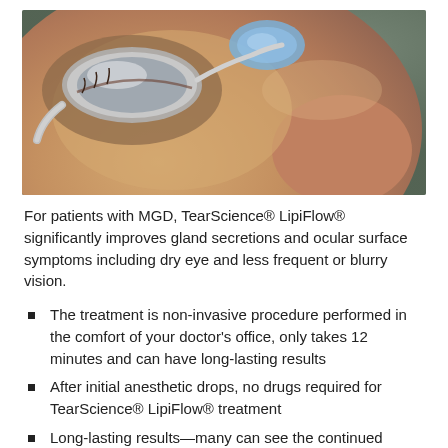[Figure (photo): Close-up photo of a patient receiving TearScience LipiFlow eye treatment, with a device applied to the eye area]
For patients with MGD, TearScience® LipiFlow® significantly improves gland secretions and ocular surface symptoms including dry eye and less frequent or blurry vision.
The treatment is non-invasive procedure performed in the comfort of your doctor's office, only takes 12 minutes and can have long-lasting results
After initial anesthetic drops, no drugs required for TearScience® LipiFlow® treatment
Long-lasting results—many can see the continued